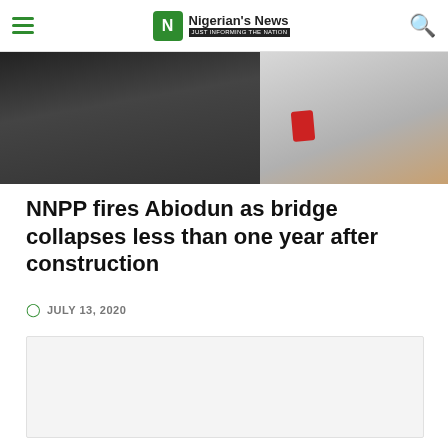Nigerian's News — JUST INFORMING THE NATION
[Figure (photo): Close-up photo of a man in a dark suit jacket with a red pocket square, white shirt visible, possibly in an outdoor or indoor setting]
NNPP fires Abiodun as bridge collapses less than one year after construction
JULY 13, 2020
[Figure (other): Blank/placeholder content area below the article date]